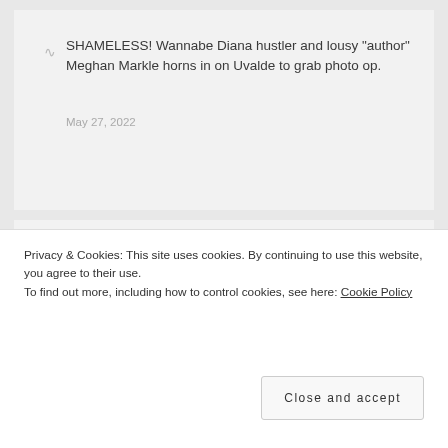SHAMELESS! Wannabe Diana hustler and lousy "author" Meghan Markle horns in on Uvalde to grab photo op.
May 27, 2022
[Figure (other): Partially visible blog post widget showing text 'Follow the science -' in bold italic dark green on light green background, and below it a bordered box with partial text 'What if' in large bold italic green text]
Privacy & Cookies: This site uses cookies. By continuing to use this website, you agree to their use.
To find out more, including how to control cookies, see here: Cookie Policy
Close and accept